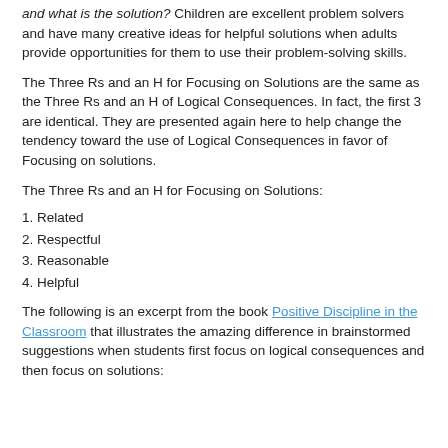and what is the solution? Children are excellent problem solvers and have many creative ideas for helpful solutions when adults provide opportunities for them to use their problem-solving skills.
The Three Rs and an H for Focusing on Solutions are the same as the Three Rs and an H of Logical Consequences. In fact, the first 3 are identical. They are presented again here to help change the tendency toward the use of Logical Consequences in favor of Focusing on solutions.
The Three Rs and an H for Focusing on Solutions:
1. Related
2. Respectful
3. Reasonable
4. Helpful
The following is an excerpt from the book Positive Discipline in the Classroom that illustrates the amazing difference in brainstormed suggestions when students first focus on logical consequences and then focus on solutions: